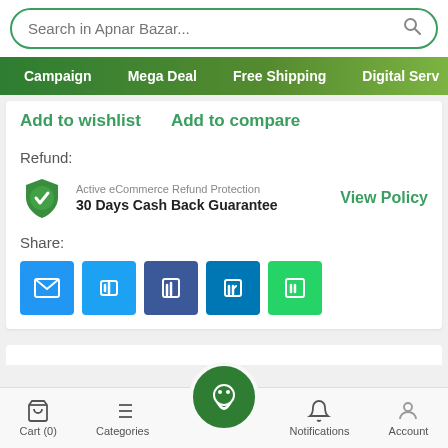Search in Apnar Bazar...
Campaign  Mega Deal  Free Shipping  Digital Serv
Add to wishlist    Add to compare
Refund:
Active eCommerce Refund Protection
30 Days Cash Back Guarantee
View Policy
Share:
[Figure (screenshot): Five social share buttons: email (blue), Twitter (light blue), Facebook (dark blue), LinkedIn (medium blue), WhatsApp (green)]
Cart (0)    Categories    [Home]    Notifications    Account